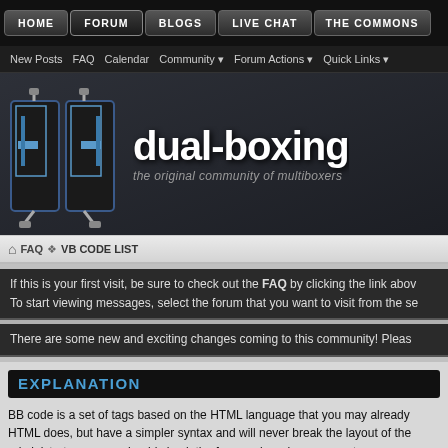HOME | FORUM | BLOGS | LIVE CHAT | THE COMMONS
New Posts  FAQ  Calendar  Community  Forum Actions  Quick Links
[Figure (logo): dual-boxing.com website logo with two stylized 'db' letter icons and text 'dual-boxing - the original community of multiboxers']
FAQ > VB CODE LIST
If this is your first visit, be sure to check out the FAQ by clicking the link above. To start viewing messages, select the forum that you want to visit from the selection below.
There are some new and exciting changes coming to this community! Please
EXPLANATION
BB code is a set of tags based on the HTML language that you may already be familiar with. They allow you to add formatting to your messages in the same way that HTML does, but have a simpler syntax and will never break the layout of the pages you are viewing. The use of BB code is usually enabled by administrator, so you should check the forum rules when you post a new message.
Below is a list of the BB code tags you can use to format your messages.